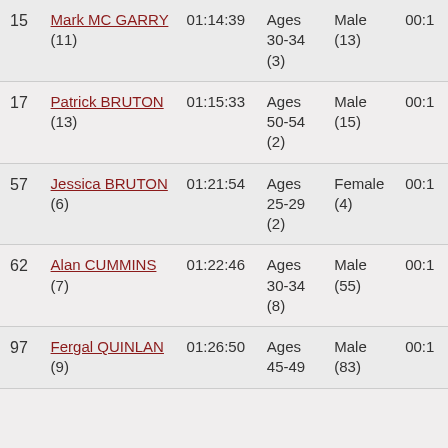| Rank | Name | Time | Category | Gender |  |
| --- | --- | --- | --- | --- | --- |
| 15 | Mark MC GARRY (11) | 01:14:39 | Ages 30-34 (3) | Male (13) | 00:1 |
| 17 | Patrick BRUTON (13) | 01:15:33 | Ages 50-54 (2) | Male (15) | 00:1 |
| 57 | Jessica BRUTON (6) | 01:21:54 | Ages 25-29 (2) | Female (4) | 00:1 |
| 62 | Alan CUMMINS (7) | 01:22:46 | Ages 30-34 (8) | Male (55) | 00:1 |
| 97 | Fergal QUINLAN (9) | 01:26:50 | Ages 45-49 | Male (83) | 00:1 |